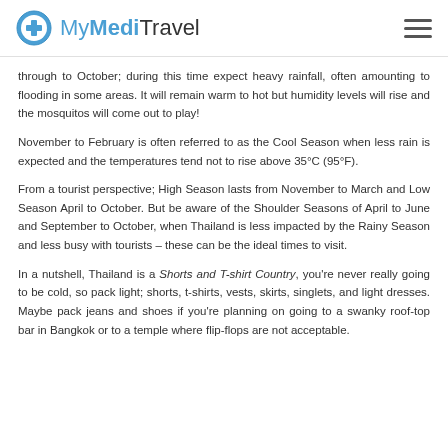MyMediTravel
through to October; during this time expect heavy rainfall, often amounting to flooding in some areas. It will remain warm to hot but humidity levels will rise and the mosquitos will come out to play!
November to February is often referred to as the Cool Season when less rain is expected and the temperatures tend not to rise above 35°C (95°F).
From a tourist perspective; High Season lasts from November to March and Low Season April to October. But be aware of the Shoulder Seasons of April to June and September to October, when Thailand is less impacted by the Rainy Season and less busy with tourists – these can be the ideal times to visit.
In a nutshell, Thailand is a Shorts and T-shirt Country, you're never really going to be cold, so pack light; shorts, t-shirts, vests, skirts, singlets, and light dresses. Maybe pack jeans and shoes if you're planning on going to a swanky roof-top bar in Bangkok or to a temple where flip-flops are not acceptable.